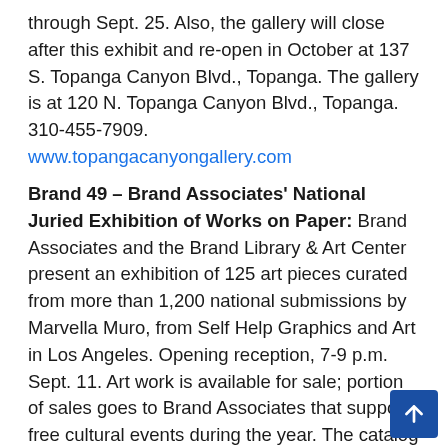through Sept. 25. Also, the gallery will close after this exhibit and re-open in October at 137 S. Topanga Canyon Blvd., Topanga. The gallery is at 120 N. Topanga Canyon Blvd., Topanga. 310-455-7909. www.topangacanyongallery.com
Brand 49 – Brand Associates' National Juried Exhibition of Works on Paper: Brand Associates and the Brand Library & Art Center present an exhibition of 125 art pieces curated from more than 1,200 national submissions by Marvella Muro, from Self Help Graphics and Art in Los Angeles. Opening reception, 7-9 p.m. Sept. 11. Art work is available for sale; portion of sales goes to Brand Associates that supports free cultural events during the year. The catalog is also for sale. Exhibit is open during library hours: 11 a.m.-8 p.m. Tuesday-Thursday; 10 a.m.-5